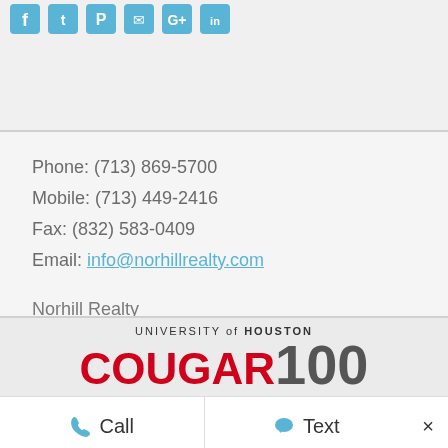[Figure (other): Social media icon links row at top of page (Facebook, Twitter, Pinterest, Email, and other icons in teal/blue)]
Phone: (713) 869-5700
Mobile: (713) 449-2416
Fax: (832) 583-0409
Email: info@norhillrealty.com
Norhill Realty
617 W. 19th Street
Houston,TX 77008
[Figure (logo): University of Houston COUGAR 100 logo — 'UNIVERSITY of HOUSTON' in small text above large red 'COUGAR' and gray '100']
Call   Text   ×